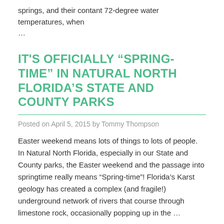springs, and their contant 72-degree water temperatures, when …
IT'S OFFICIALLY “SPRING-TIME” IN NATURAL NORTH FLORIDA’S STATE AND COUNTY PARKS
Posted on April 5, 2015 by Tommy Thompson
Easter weekend means lots of things to lots of people.  In Natural North Florida, especially in our State and County parks, the Easter weekend and the passage into springtime really means “Spring-time”! Florida’s Karst geology has created a complex (and fragile!) underground network of rivers that course through limestone rock, occasionally popping up in the …
COLD OUTSIDE? PADDLE NATURAL NORTH FLORIDA